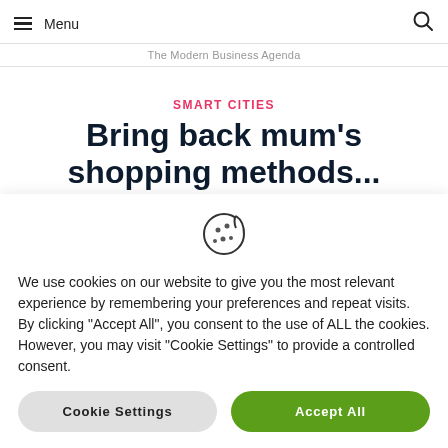Menu | The Modern Business Agenda
SMART CITIES
Bring back mum's shopping methods...
BY THE GLOBAL VIEW   AUGUST 11, 2007
We use cookies on our website to give you the most relevant experience by remembering your preferences and repeat visits. By clicking "Accept All", you consent to the use of ALL the cookies. However, you may visit "Cookie Settings" to provide a controlled consent.